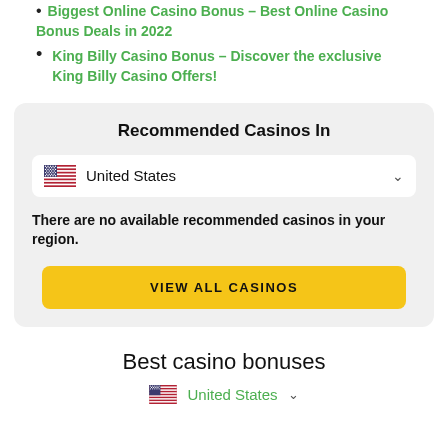Biggest Online Casino Bonus – Best Online Casino Bonus Deals in 2022
King Billy Casino Bonus – Discover the exclusive King Billy Casino Offers!
Recommended Casinos In
United States
There are no available recommended casinos in your region.
VIEW ALL CASINOS
Best casino bonuses
United States